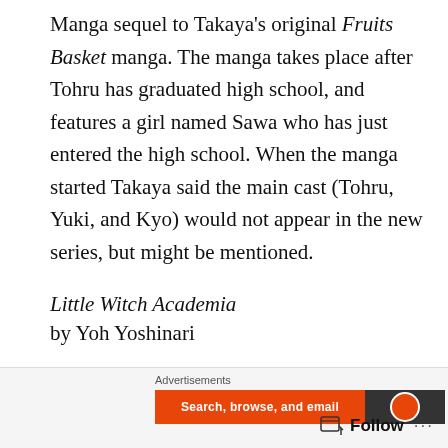Manga sequel to Takaya's original Fruits Basket manga. The manga takes place after Tohru has graduated high school, and features a girl named Sawa who has just entered the high school. When the manga started Takaya said the main cast (Tohru, Yuki, and Kyo) would not appear in the new series, but might be mentioned.
Little Witch Academia by Yoh Yoshinari
[Figure (screenshot): Advertisement banner with a dark left panel showing a blurry photo and a dark blue right panel with a white P logo box]
[Figure (screenshot): Bottom advertisement bar with orange section reading 'Search, browse, and email' and dark section with circular icon]
Follow ···